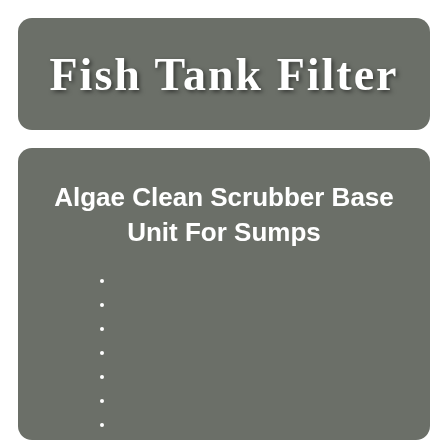Fish Tank Filter
Algae Clean Scrubber Base Unit For Sumps